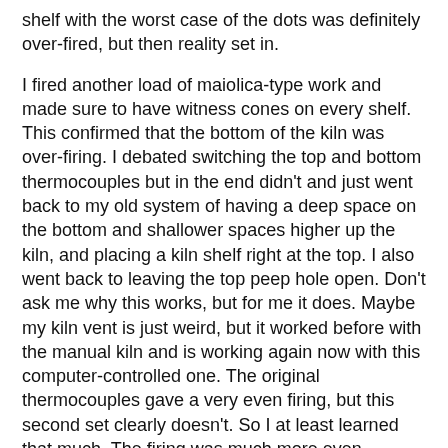shelf with the worst case of the dots was definitely over-fired, but then reality set in.
I fired another load of maiolica-type work and made sure to have witness cones on every shelf. This confirmed that the bottom of the kiln was over-firing. I debated switching the top and bottom thermocouples but in the end didn't and just went back to my old system of having a deep space on the bottom and shallower spaces higher up the kiln, and placing a kiln shelf right at the top. I also went back to leaving the top peep hole open. Don't ask me why this works, but for me it does. Maybe my kiln vent is just weird, but it worked before with the manual kiln and is working again now with this computer-controlled one. The original thermocouples gave a very even firing, but this second set clearly doesn't. So I at least learned that much. The firing was much more even.
But dots appeared on every shelf.
Then I sent an SOS out on Clayart, a list I belong to. This list (if you aren't on it, you should be) has some super helpful and knowledgeable people on it, and I got a number of